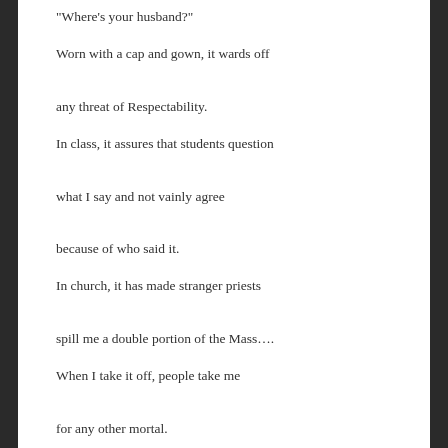“Where’s your husband?”
Worn with a cap and gown, it wards off
any threat of Respectability.
In class, it assures that students question
what I say and not vainly agree
because of who said it.
In church, it has made stranger priests
spill me a double portion of the Mass….
When I take it off, people take me
for any other mortal.